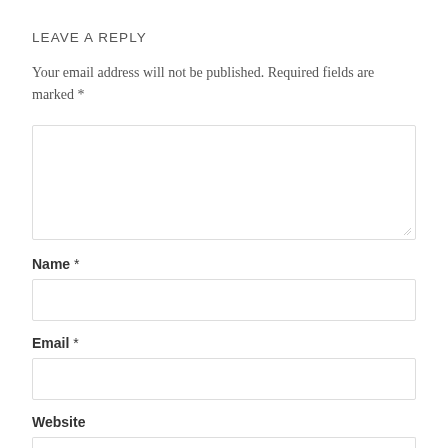LEAVE A REPLY
Your email address will not be published. Required fields are marked *
[Figure (other): Large comment textarea input box]
Name *
[Figure (other): Name text input field]
Email *
[Figure (other): Email text input field]
Website